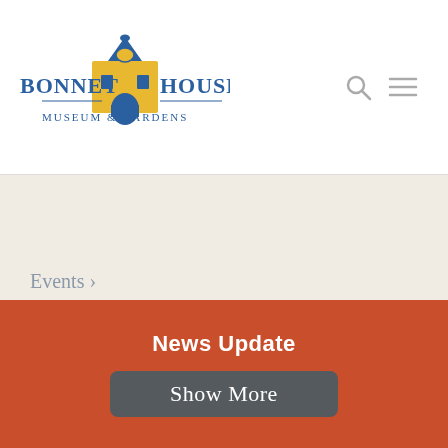[Figure (logo): Bonnet House Museum & Gardens logo with blue text and yellow building illustration]
Events › FESTIVAL OF TREES
2022-08-19 ˅
M  T  W  T  F  S  S
News Update
Show More